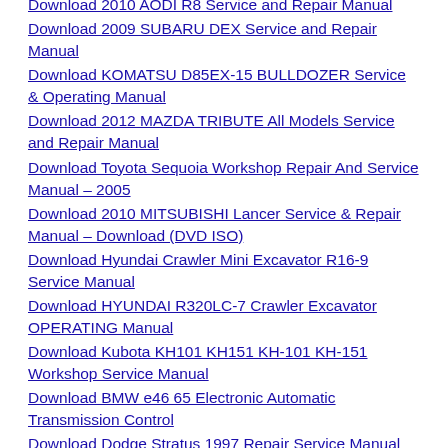Download 2010 AODI R8 Service and Repair Manual
Download 2009 SUBARU DEX Service and Repair Manual
Download KOMATSU D85EX-15 BULLDOZER Service & Operating Manual
Download 2012 MAZDA TRIBUTE All Models Service and Repair Manual
Download Toyota Sequoia Workshop Repair And Service Manual – 2005
Download 2010 MITSUBISHI Lancer Service & Repair Manual – Download (DVD ISO)
Download Hyundai Crawler Mini Excavator R16-9 Service Manual
Download HYUNDAI R320LC-7 Crawler Excavator OPERATING Manual
Download Kubota KH101 KH151 KH-101 KH-151 Workshop Service Manual
Download BMW e46 65 Electronic Automatic Transmission Control
Download Dodge Stratus 1997 Repair Service Manual
Download 2002 DODGE RAM 1500 Full Service Repair Manual
Download Komatsu D39PX-21 Bulldozer Workshop Repair Service